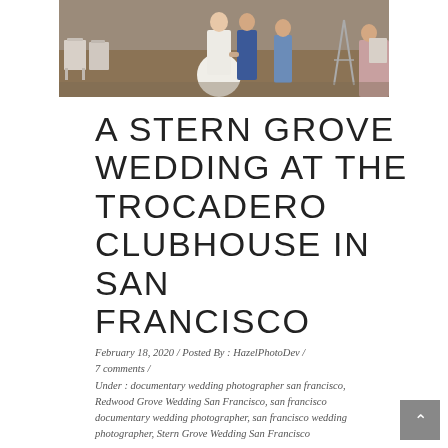[Figure (photo): Wedding ceremony photo showing a bride in white dress and groom in blue suit walking, with white folding chairs and guests visible in the background]
A STERN GROVE WEDDING AT THE TROCADERO CLUBHOUSE IN SAN FRANCISCO
February 18, 2020 / Posted By : HazelPhotoDev / 7 comments / Under : documentary wedding photographer san francisco, Redwood Grove Wedding San Francisco, san francisco documentary wedding photographer, san francisco wedding photographer, Stern Grove Wedding San Francisco